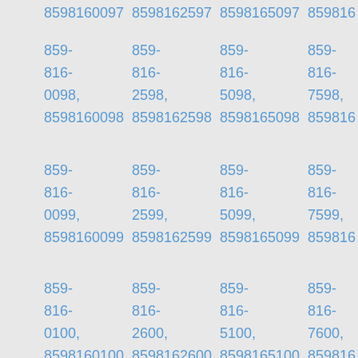8598160097 8598162597 8598165097 859816...
859-816-0098, 8598160098 | 859-816-2598, 8598162598 | 859-816-5098, 8598165098 | 859-816-7598, 859816...
859-816-0099, 8598160099 | 859-816-2599, 8598162599 | 859-816-5099, 8598165099 | 859-816-7599, 859816...
859-816-0100, 8598160100 | 859-816-2600, 8598162600 | 859-816-5100, 8598165100 | 859-816-7600, 859816...
859-816- | 859-816- | 859-816- | 859-816-